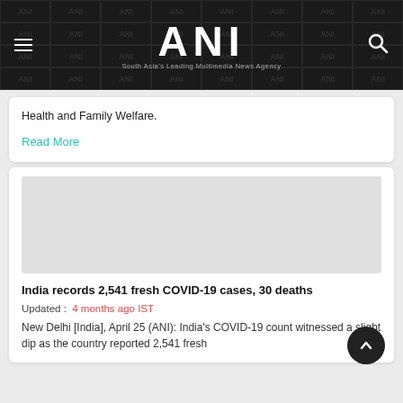ANI — South Asia's Leading Multimedia News Agency
Health and Family Welfare.
Read More
[Figure (photo): Placeholder image area for news article thumbnail]
India records 2,541 fresh COVID-19 cases, 30 deaths
Updated : 4 months ago IST
New Delhi [India], April 25 (ANI): India's COVID-19 count witnessed a slight dip as the country reported 2,541 fresh